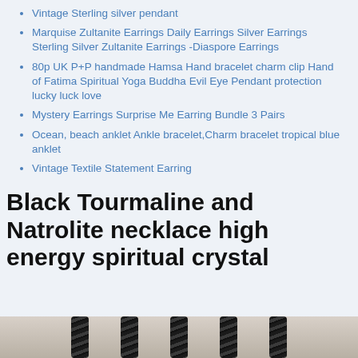Vintage Sterling silver pendant
Marquise Zultanite Earrings Daily Earrings Silver Earrings Sterling Silver Zultanite Earrings -Diaspore Earrings
80p UK P+P handmade Hamsa Hand bracelet charm clip Hand of Fatima Spiritual Yoga Buddha Evil Eye Pendant protection lucky luck love
Mystery Earrings Surprise Me Earring Bundle 3 Pairs
Ocean, beach anklet Ankle bracelet,Charm bracelet tropical blue anklet
Vintage Textile Statement Earring
Black Tourmaline and Natrolite necklace high energy spiritual crystal
[Figure (photo): Black Tourmaline and Natrolite necklace high energy spiritual crystal — product image showing dark braided cords on a light wooden surface]